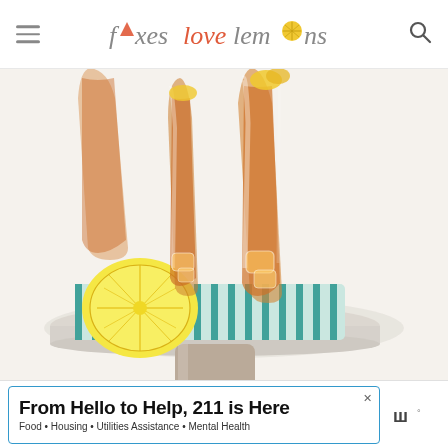foxes love lemons
[Figure (photo): Two glasses of iced tea with lemon slices, sitting on a teal striped cloth on a white pedestal cake stand, with a halved lemon beside the glasses. White background.]
From Hello to Help, 211 is Here
Food • Housing • Utilities Assistance • Mental Health